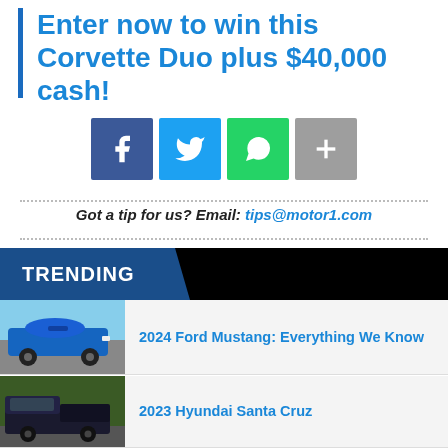Enter now to win this Corvette Duo plus $40,000 cash!
[Figure (infographic): Social share buttons: Facebook (blue), Twitter (light blue), WhatsApp (green), More (grey)]
Got a tip for us? Email: tips@motor1.com
TRENDING
[Figure (photo): Blue 2024 Ford Mustang parked near coastline]
2024 Ford Mustang: Everything We Know
[Figure (photo): Dark blue 2023 Hyundai Santa Cruz truck]
2023 Hyundai Santa Cruz